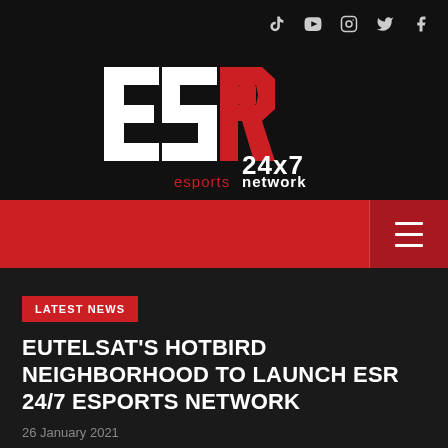[Figure (logo): ESR 24x7 esports network logo — white ESR letters with red R accent, followed by '24x7' in white and 'esports network' in red and white below]
LATEST NEWS
EUTELSAT'S HOTBIRD NEIGHBORHOOD TO LAUNCH ESR 24/7 ESPORTS NETWORK
26 January 2021